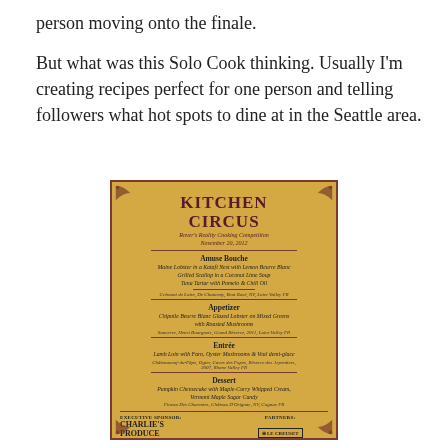person moving onto the finale.
But what was this Solo Cook thinking. Usually I'm creating recipes perfect for one person and telling followers what hot spots to dine at in the Seattle area.
[Figure (other): Kitchen Circus menu card for Rover's Reality Cooking Competition, November 20, 2012. Gold/yellow background with decorative border. Sections: Amuse Bouche (Maine Lobster in a Katafi Nest with Lemon Beurre Blanc, Grilled Scallop in a Coconut Lime Soup, Tuna Tartar with Pomelo & Chili Oil), Appetizer (Chipotle Beurre Blanc Glazed Lobster on Mixed Greens with Roasted Mushrooms), Entrée (Lamb Loin with Faro, Oyster Mushrooms & Veal demi-glace), Dessert (Pumpkin Cheesecake with Maple-Curry Whipped Cream, Vermont Maple Sugar Candy). Executive Sponsor: Charlie's Produce. Partners: Le Creuset, Gene Juarez, Spantable.com]